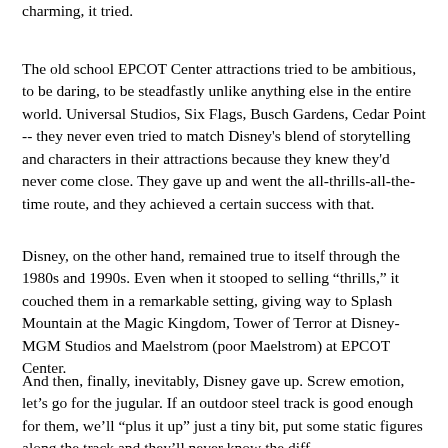charming, it tried.
The old school EPCOT Center attractions tried to be ambitious, to be daring, to be steadfastly unlike anything else in the entire world. Universal Studios, Six Flags, Busch Gardens, Cedar Point -- they never even tried to match Disney's blend of storytelling and characters in their attractions because they knew they'd never come close. They gave up and went the all-thrills-all-the-time route, and they achieved a certain success with that.
Disney, on the other hand, remained true to itself through the 1980s and 1990s. Even when it stooped to selling "thrills," it couched them in a remarkable setting, giving way to Splash Mountain at the Magic Kingdom, Tower of Terror at Disney-MGM Studios and Maelstrom (poor Maelstrom) at EPCOT Center.
And then, finally, inevitably, Disney gave up. Screw emotion, let's go for the jugular. If an outdoor steel track is good enough for them, we'll "plus it up" just a tiny bit, put some static figures along the track and they'll never know the diff...